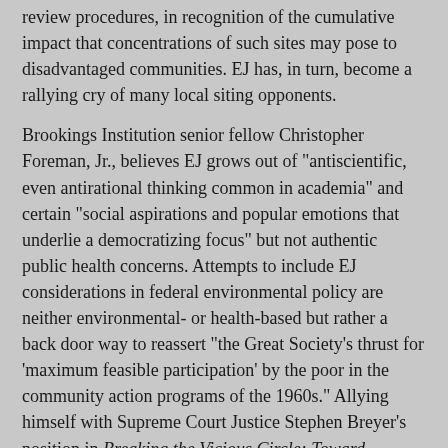review procedures, in recognition of the cumulative impact that concentrations of such sites may pose to disadvantaged communities. EJ has, in turn, become a rallying cry of many local siting opponents.
Brookings Institution senior fellow Christopher Foreman, Jr., believes EJ grows out of "antiscientific, even antirational thinking common in academia" and certain "social aspirations and popular emotions that underlie a democratizing focus" but not authentic public health concerns. Attempts to include EJ considerations in federal environmental policy are neither environmental- or health-based but rather a back door way to reassert "the Great Society's thrust for 'maximum feasible participation' by the poor in the community action programs of the 1960s." Allying himself with Supreme Court Justice Stephen Breyer's position in Breaking the Vicious Circle: Toward Effective Risk Regulation,(6) Foreman asserts that the issues raised by EJ advocates can be resolved by applying a "rationalizing" approach to the environmental health concerns that ought to be addressed by government agencies. Foreman specifically proposes to replace equity demands with increasingly standardized quantitative risk assessment procedures (RA). Such demands, Foreman believes, have up to now been asserted in such a vague and expansive manner as to be unworkable and counterproductive in any effort to improve the health of disadvantaged groups. Regulatory policymakers could